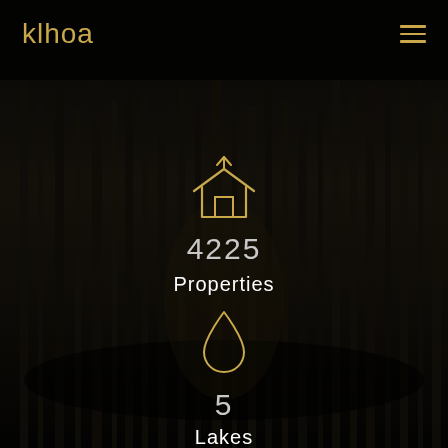klhoa
[Figure (infographic): Dark forest background with vertical tree silhouettes]
[Figure (infographic): Golden house outline icon with upward arrow]
4225
Properties
[Figure (infographic): Golden water drop outline icon]
5
Lakes